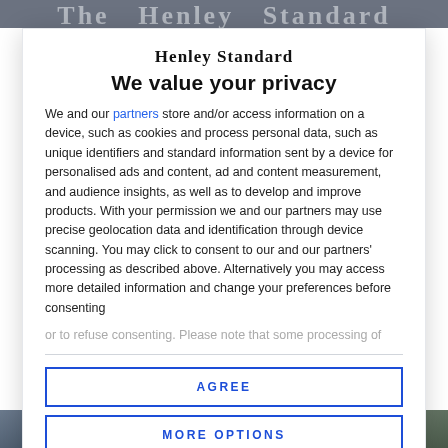The Henley Standard (newspaper header bar)
[Figure (logo): Henley Standard blackletter masthead logo text]
We value your privacy
We and our partners store and/or access information on a device, such as cookies and process personal data, such as unique identifiers and standard information sent by a device for personalised ads and content, ad and content measurement, and audience insights, as well as to develop and improve products. With your permission we and our partners may use precise geolocation data and identification through device scanning. You may click to consent to our and our partners' processing as described above. Alternatively you may access more detailed information and change your preferences before consenting
or to refuse consenting. Please note that some processing of your...
AGREE
MORE OPTIONS